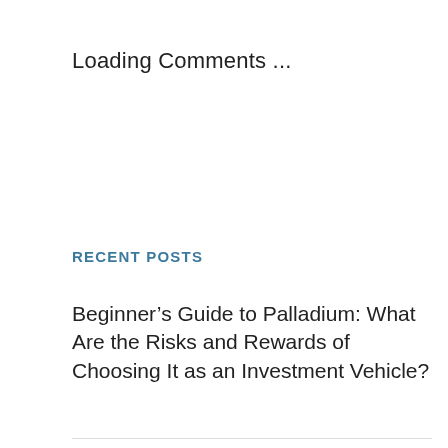Loading Comments ...
RECENT POSTS
Beginner’s Guide to Palladium: What Are the Risks and Rewards of Choosing It as an Investment Vehicle?